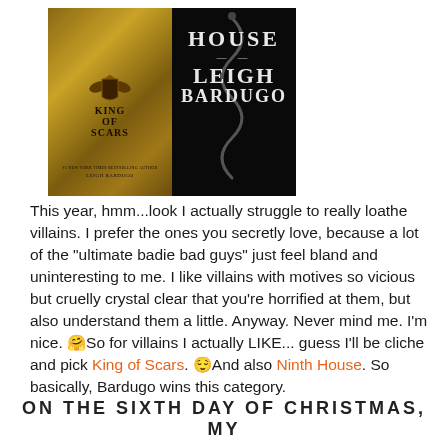[Figure (illustration): Two book covers side by side: King of Scars by Leigh Bardugo (gold/ornate cover on left) and Ninth House by Leigh Bardugo (dark black cover on right)]
This year, hmm...look I actually struggle to really loathe villains. I prefer the ones you secretly love, because a lot of the “ultimate badie bad guys” just feel bland and uninteresting to me. I like villains with motives so vicious but cruelly crystal clear that you’re horrified at them, but also understand them a little. Anyway. Never mind me. I’m nice. 🤔So for villains I actually LIKE... guess I’ll be cliche and pick King of Scars. 😌and also Ninth House. So basically, Bardugo wins this category.
ON THE SIXTH DAY OF CHRISTMAS, MY